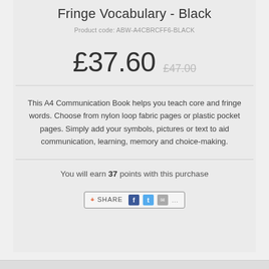Fringe Vocabulary - Black
Product code: ABW-A4CBRCFF6-BLACK
£37.60  £47.00
This A4 Communication Book helps you teach core and fringe words. Choose from nylon loop fabric pages or plastic pocket pages. Simply add your symbols, pictures or text to aid communication, learning, memory and choice-making.
You will earn 37 points with this purchase
[Figure (other): Share button with Facebook, Twitter, and email icons]